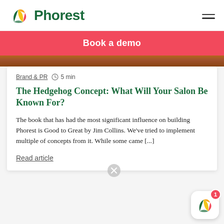[Figure (logo): Phorest logo with colorful leaf/P icon and green Phorest wordmark]
Book a demo
[Figure (photo): Partial image strip at top of article card]
Brand & PR  🕐  5 min
The Hedgehog Concept: What Will Your Salon Be Known For?
The book that has had the most significant influence on building Phorest is Good to Great by Jim Collins. We've tried to implement multiple of concepts from it. While some came [...]
Read article
Salons made an average of $41.8k from SMS & email marketing campaigns through Phorest in the last 3...
[Figure (logo): Phorest app icon with notification badge showing 1]